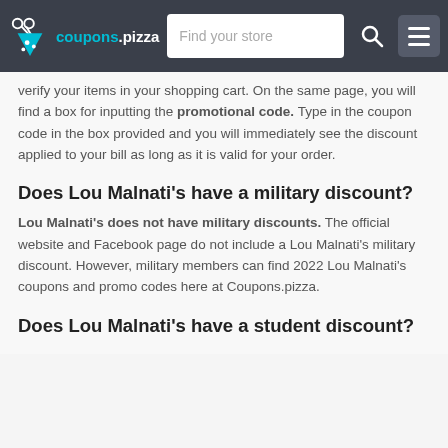coupons.pizza — Find your store
verify your items in your shopping cart. On the same page, you will find a box for inputting the promotional code. Type in the coupon code in the box provided and you will immediately see the discount applied to your bill as long as it is valid for your order.
Does Lou Malnati's have a military discount?
Lou Malnati's does not have military discounts. The official website and Facebook page do not include a Lou Malnati's military discount. However, military members can find 2022 Lou Malnati's coupons and promo codes here at Coupons.pizza.
Does Lou Malnati's have a student discount?